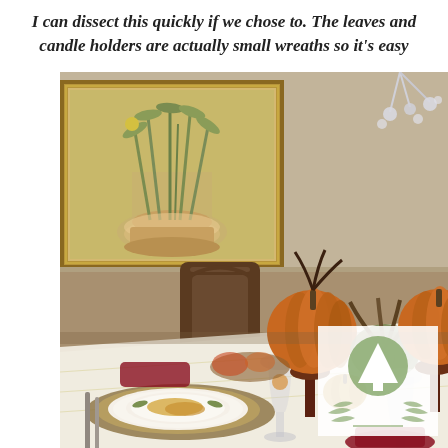I can dissect this quickly if we chose to. The leaves and candle holders are actually small wreaths so it's easy
[Figure (photo): A Thanksgiving-themed dining table set with decorative plates, wine glasses, dark red napkins, and autumn pumpkin centerpieces on candle stands. A botanical painting in a gold frame hangs on the wall in the background. A chandelier is partially visible at the top right. A watermark logo with a green pine tree icon and laurel branches appears in the lower right corner.]